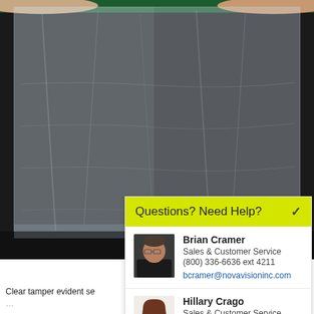[Figure (photo): Product photo of a large clear plastic tamper evident bag held up by two hands against a dark background]
Questions? Need Help?
Brian Cramer
Sales & Customer Service
(800) 336-6636 ext 4211
bcramer@novavisioninc.com
Hillary Crago
Sales & Customer Service
(800) 336-6636 ext 4254
hcrago@novavisioninc.com
Clear tamper evident se